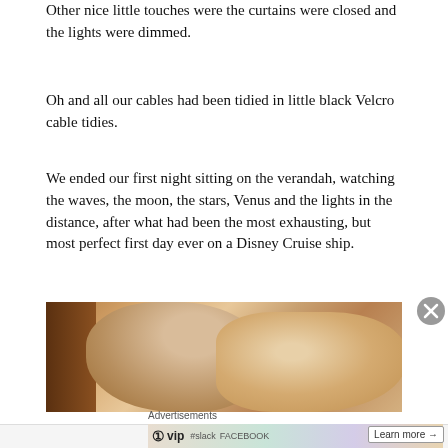Other nice little touches were the curtains were closed and the lights were dimmed.
Oh and all our cables had been tidied in little black Velcro cable tidies.
We ended our first night sitting on the verandah, watching the waves, the moon, the stars, Venus and the lights in the distance, after what had been the most exhausting, but most perfect first day ever on a Disney Cruise ship.
[Figure (photo): A photo of pillows or cushions on a bed or couch, in warm beige/tan tones, partially dark on the left side suggesting a cabin setting.]
Advertisements